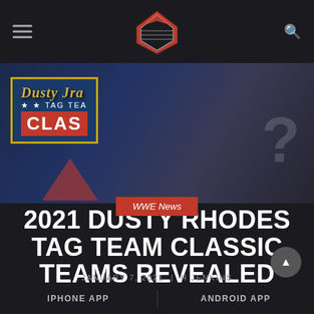WWE News wrestling website header with hamburger menu, logo, and search icon
[Figure (photo): Dusty Rhodes Tag Team Classic promotional image showing partial text 'TAG TEA' and 'CLAS' with a question mark silhouette on the right side, dark blue background]
WWE News
2021 DUSTY RHODES TAG TEAM CLASSIC TEAMS REVEALED
JANUARY 7, 2021 | H JENKINS
IPHONE APP     ANDROID APP